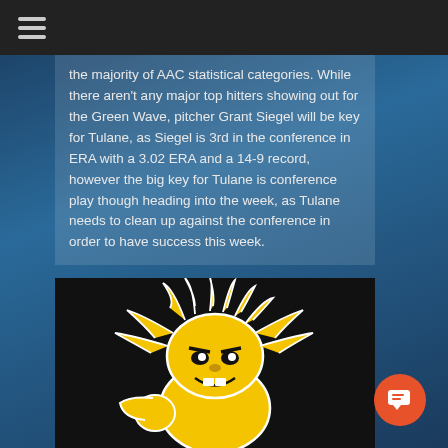the majority of AAC statistical categories. While there aren't any major top hitters showing out for the Green Wave, pitcher Grant Siegel will be key for Tulane, as Siegel is 3rd in the conference in ERA with a 3.02 ERA and a 14-9 record, however the big key for Tulane is conference play though heading into the week, as Tulane needs to clean up against the conference in order to have success this week.
[Figure (illustration): Wichita State Shockers mascot (WuShock) — yellow cartoon character with wild hair, on a black background]